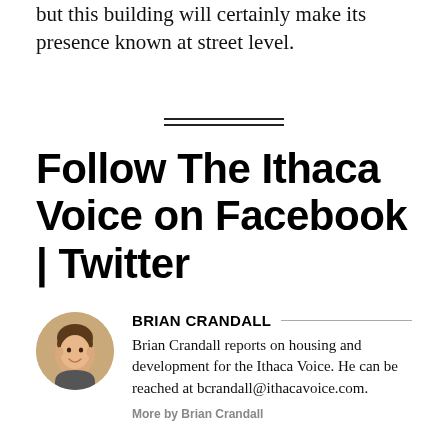but this building will certainly make its presence known at street level.
Follow The Ithaca Voice on Facebook | Twitter
BRIAN CRANDALL
Brian Crandall reports on housing and development for the Ithaca Voice. He can be reached at bcrandall@ithacavoice.com.
More by Brian Crandall